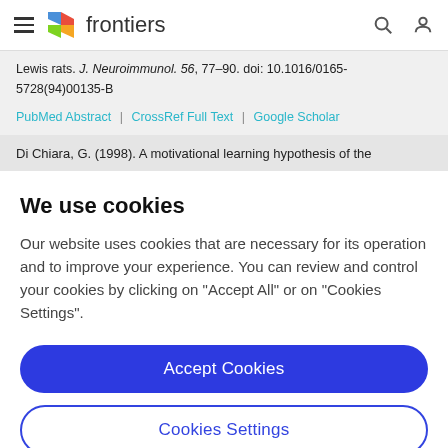frontiers (navigation bar with hamburger menu, logo, search and user icons)
Lewis rats. J. Neuroimmunol. 56, 77–90. doi: 10.1016/0165-5728(94)00135-B
PubMed Abstract | CrossRef Full Text | Google Scholar
Di Chiara, G. (1998). A motivational learning hypothesis of the
We use cookies
Our website uses cookies that are necessary for its operation and to improve your experience. You can review and control your cookies by clicking on "Accept All" or on "Cookies Settings".
Accept Cookies
Cookies Settings